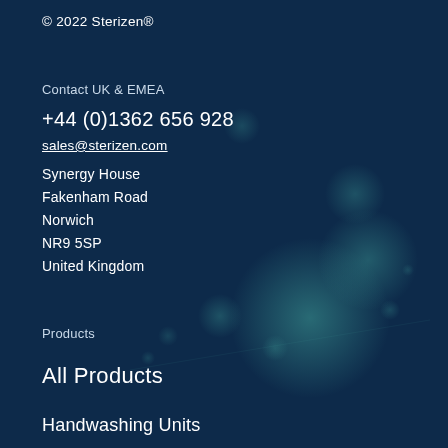© 2022 Sterizen®
Contact UK & EMEA
+44 (0)1362 656 928
sales@sterizen.com
Synergy House
Fakenham Road
Norwich
NR9 5SP
United Kingdom
Products
All Products
Handwashing Units